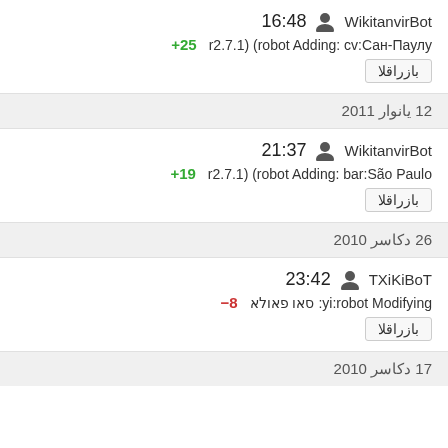WikitanvirBot 16:48
r2.7.1) (robot Adding: cv:Сан-Паулу +25
بازراقلا
12 يانوار 2011
WikitanvirBot 21:37
r2.7.1) (robot Adding: bar:São Paulo +19
بازراقلا
26 دکاسر 2010
TXiKiBoT 23:42
yi:robot Modifying: סאו פאולא −8
بازراقلا
17 دکاسر 2010